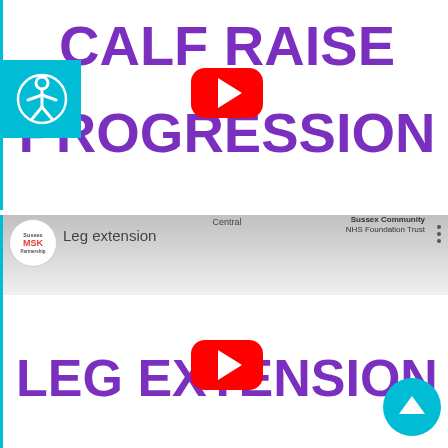[Figure (screenshot): YouTube video thumbnail for 'Calf Raise Progression' by Sussex MSK Partnership. Shows a large purple bold text 'CALF RAISE PROGRESSION' with a YouTube play button overlay. Accessibility icon (person in circle) on the left side.]
[Figure (screenshot): YouTube video thumbnail for 'Leg Extension' by Sussex MSK Partnership. Shows 'Leg extension' as video title, Sussex Community NHS Foundation Trust branding, and large purple bold text 'LEG EXTENSION' with a YouTube play button overlay. Teal scroll-to-top button in bottom right.]